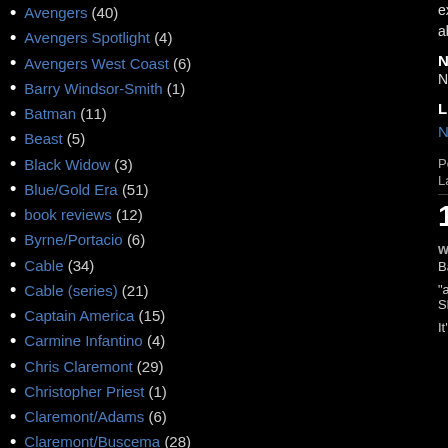Avengers (40)
Avengers Spotlight (4)
Avengers West Coast (6)
Barry Windsor-Smith (1)
Batman (11)
Beast (5)
Black Widow (3)
Blue/Gold Era (51)
book reviews (12)
Byrne/Portacio (6)
Cable (34)
Cable (series) (21)
Captain America (15)
Carmine Infantino (4)
Chris Claremont (29)
Christopher Priest (1)
Claremont/Adams (6)
Claremont/Buscema (28)
Claremont/Byrne (34)
Claremont/Cockrum (1)
Claremont/Cockrum II (26)
Claremont/Collins (3)
Claremont/Davis (20)
existence of th... about it, it's ne...
Next Issue
Next week: Ge...
Like what you...
Newer Post
Posted by Austi...
Labels: "Age of...
10 comn...
wwk5c
Basica...
"as it f... Skrull v...
It's th...